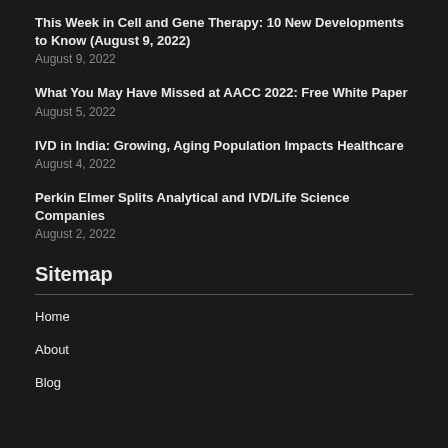This Week in Cell and Gene Therapy: 10 New Developments to Know (August 9, 2022)
August 9, 2022
What You May Have Missed at AACC 2022: Free White Paper
August 5, 2022
IVD in India: Growing, Aging Population Impacts Healthcare
August 4, 2022
Perkin Elmer Splits Analytical and IVD/Life Science Companies
August 2, 2022
Sitemap
Home
About
Blog